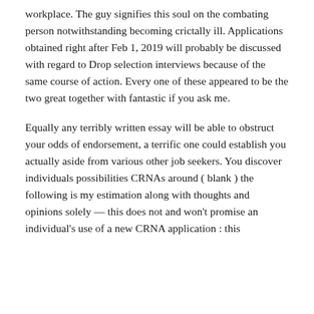workplace. The guy signifies this soul on the combating person notwithstanding becoming crictally ill. Applications obtained right after Feb 1, 2019 will probably be discussed with regard to Drop selection interviews because of the same course of action. Every one of these appeared to be the two great together with fantastic if you ask me.
Equally any terribly written essay will be able to obstruct your odds of endorsement, a terrific one could establish you actually aside from various other job seekers. You discover individuals possibilities CRNAs around ( blank ) the following is my estimation along with thoughts and opinions solely — this does not and won't promise an individual's use of a new CRNA application : this